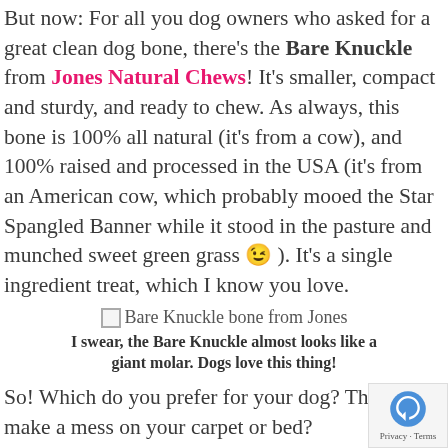But now: For all you dog owners who asked for a great clean dog bone, there's the Bare Knuckle from Jones Natural Chews! It's smaller, compact and sturdy, and ready to chew. As always, this bone is 100% all natural (it's from a cow), and 100% raised and processed in the USA (it's from an American cow, which probably mooed the Star Spangled Banner while it stood in the pasture and munched sweet green grass 😉 ). It's a single ingredient treat, which I know you love.
[Figure (photo): Bare Knuckle bone from Jones (image placeholder with alt text)]
I swear, the Bare Knuckle almost looks like a giant molar. Dogs love this thing!
So! Which do you prefer for your dog? The m… bone, covered in yummy goodness, that mig… make a mess on your carpet or bed?